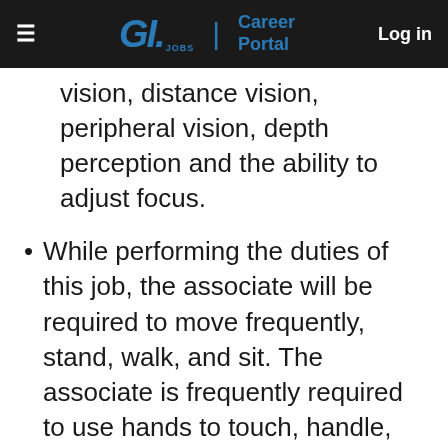G.I. JOBS | Career Portal  Log in
vision, distance vision, peripheral vision, depth perception and the ability to adjust focus.
While performing the duties of this job, the associate will be required to move frequently, stand, walk, and sit. The associate is frequently required to use hands to touch, handle, and feel, and to reach with hands and arms. The associate must be able to regularly lift and/or move up to 50lbs/23kg and occasionally lift and/or move up to 100lbs/45kg.